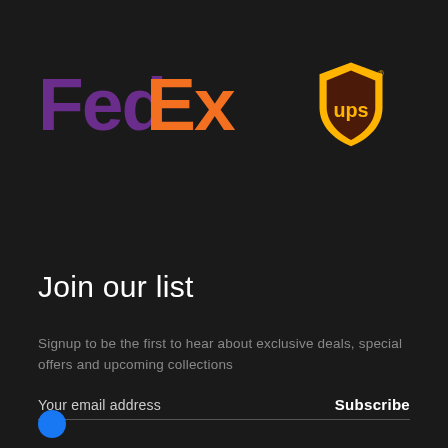[Figure (logo): FedEx logo in purple and orange, and UPS shield logo in gold and brown on dark background]
Join our list
Signup to be the first to hear about exclusive deals, special offers and upcoming collections
Your email address
Subscribe